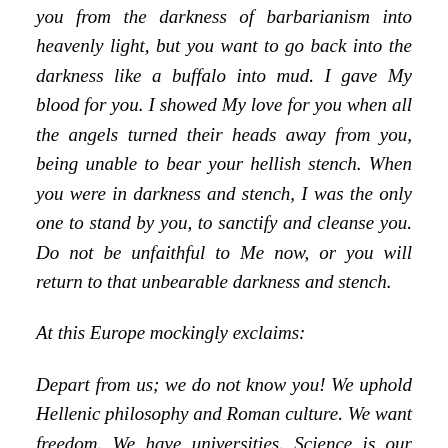you from the darkness of barbarianism into heavenly light, but you want to go back into the darkness like a buffalo into mud. I gave My blood for you. I showed My love for you when all the angels turned their heads away from you, being unable to bear your hellish stench. When you were in darkness and stench, I was the only one to stand by you, to sanctify and cleanse you. Do not be unfaithful to Me now, or you will return to that unbearable darkness and stench.
At this Europe mockingly exclaims:
Depart from us; we do not know you! We uphold Hellenic philosophy and Roman culture. We want freedom. We have universities. Science is our guiding